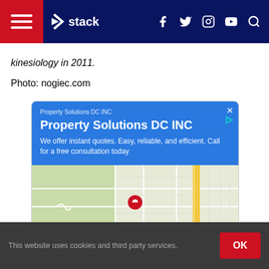Stack — navigation bar with hamburger menu, logo, social icons (f, twitter, instagram, youtube), search
kinesiology in 2011.
Photo: nogiec.com
[Figure (other): Google Maps advertisement for Property Solutions DC INC. Blue header with company name, tagline 'We offer instant quotes. Easy, reliable, and efficient. Call for a free consultation today', map with red location pin, Directions and Call buttons.]
This website uses cookies and third party services.